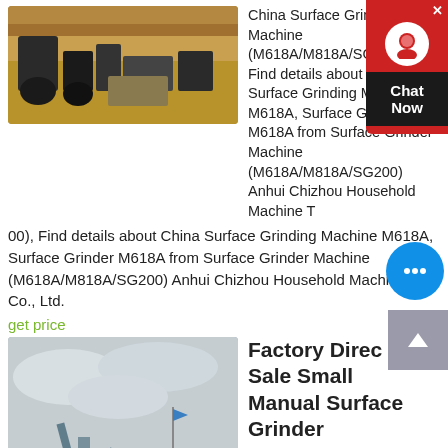[Figure (photo): Industrial machinery / sand processing equipment outdoors on sandy ground with black drums]
China Surface Grinder Machine (M618A/M818A/SG200), Find details about China Surface Grinding Machine M618A, Surface Grinder M618A from Surface Grinder Machine (M618A/M818A/SG200) Anhui Chizhou Household Machine Tool Co., Ltd.
get price
[Figure (photo): Industrial crushing/processing plant with conveyor belts and machinery on a construction site under cloudy sky]
Factory Direct Sale Small Manual Surface Grinder
China Factory Directly Sale Small Manual Surface Grinder Machine (M818A), Find details about China Surface Grinder machine, manual grinding machine from Factory Directly Sale Small Manual Surface Grinder Machine (M818A) To...